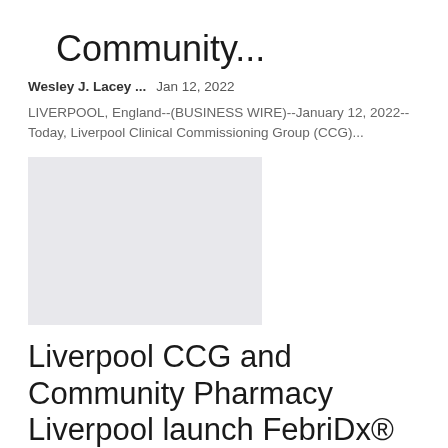Community...
Wesley J. Lacey ...    Jan 12, 2022
LIVERPOOL, England--(BUSINESS WIRE)--January 12, 2022--Today, Liverpool Clinical Commissioning Group (CCG)...
[Figure (photo): Gray placeholder image rectangle]
Liverpool CCG and Community Pharmacy Liverpool launch FebriDx® service in over 100 community...